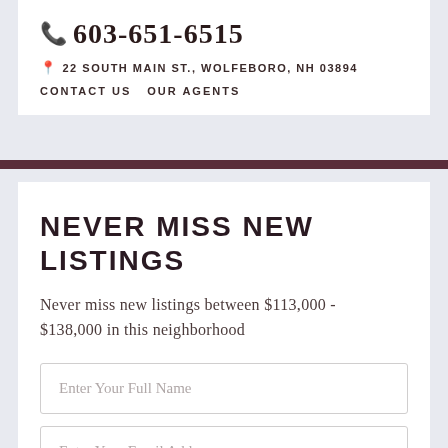603-651-6515
22 SOUTH MAIN ST., WOLFEBORO, NH 03894
CONTACT US   OUR AGENTS
NEVER MISS NEW LISTINGS
Never miss new listings between $113,000 - $138,000 in this neighborhood
Enter Your Full Name
Enter Your Email Address